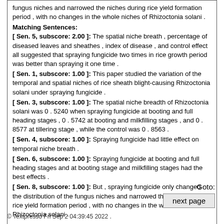fungus niches and narrowed the niches during rice yield formation period , with no changes in the whole niches of Rhizoctonia solani .
Matching Sentences:
[ Sen. 5, subscore: 2.00 ]: The spatial niche breath , percentage of diseased leaves and sheathes , index of disease , and control effect all suggested that spraying fungicide two times in rice growth period was better than spraying it one time .
[ Sen. 1, subscore: 1.00 ]: This paper studied the variation of the temporal and spatial niches of rice sheath blight-causing Rhizoctonia solani under spraying fungicide .
[ Sen. 3, subscore: 1.00 ]: The spatial niche breadth of Rhizoctonia solani was 0 . 5240 when spraying fungicide at booting and full heading stages , 0 . 5742 at booting and milkfilling stages , and 0 . 8577 at tillering stage , while the control was 0 . 8563 .
[ Sen. 4, subscore: 1.00 ]: Spraying fungicide had little effect on temporal niche breath .
[ Sen. 6, subscore: 1.00 ]: Spraying fungicide at booting and full heading stages and at booting stage and milkfilling stages had the best effects .
[ Sen. 8, subscore: 1.00 ]: But , spraying fungicide only changed the distribution of the fungus niches and narrowed the niches during rice yield formation period , with no changes in the whole niches of Rhizoctonia solani .
Goto:
next page
© Textpresso Fri Sep 2 04:39:45 2022 .